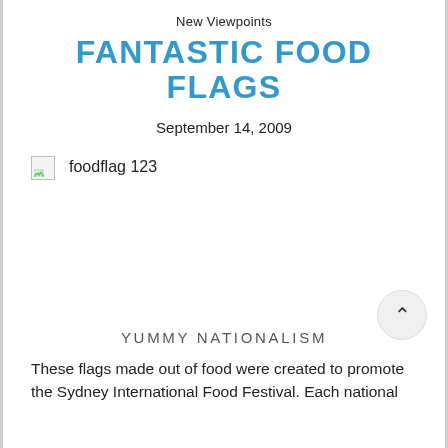New Viewpoints
FANTASTIC FOOD FLAGS
September 14, 2009
[Figure (photo): Broken image placeholder with label 'foodflag 123']
YUMMY NATIONALISM
These flags made out of food were created to promote the Sydney International Food Festival. Each national